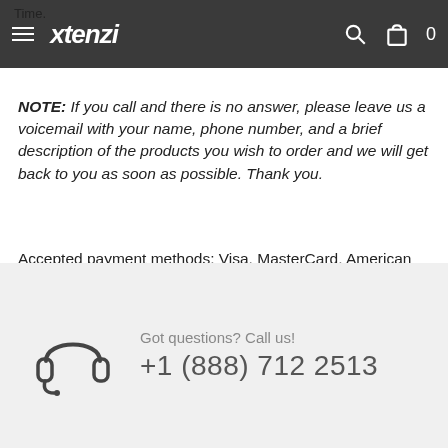Time. Xtenzi [navigation bar with search and cart icons, count: 0]
NOTE: If you call and there is no answer, please leave us a voicemail with your name, phone number, and a brief description of the products you wish to order and we will get back to you as soon as possible. Thank you.
Accepted payment methods: Visa, MasterCard, American Express, Discover, PayPal* and Wire Transfer*
* Payment method only available for online orders.
Got questions? Call us!
+1 (888) 712 2513